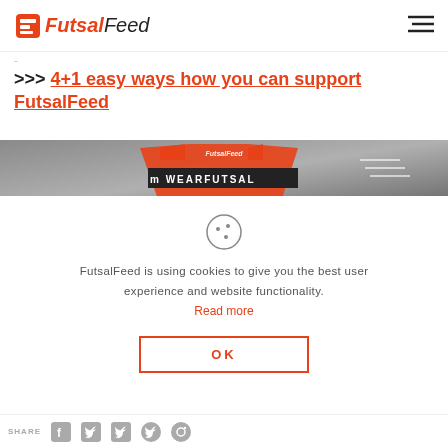FutsalFeed
>>> 4+1 easy ways how you can support FutsalFeed
[Figure (photo): FutsalFeed promotional banner showing an orange futsal shirt with WEARFUTSAL text]
FutsalFeed is using cookies to give you the best user experience and website functionality. Read more
OK
SHARE